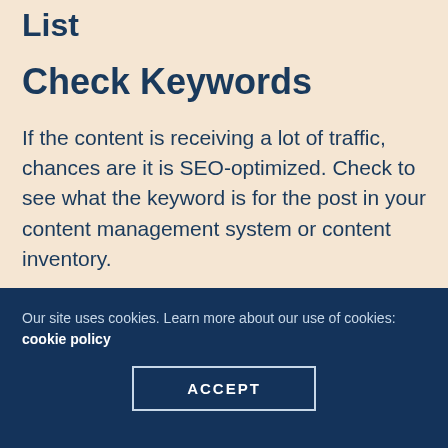List
Check Keywords
If the content is receiving a lot of traffic, chances are it is SEO-optimized. Check to see what the keyword is for the post in your content management system or content inventory.
Google the exact keyword and analyze the first page of organic results.
Our site uses cookies. Learn more about our use of cookies: cookie policy ACCEPT